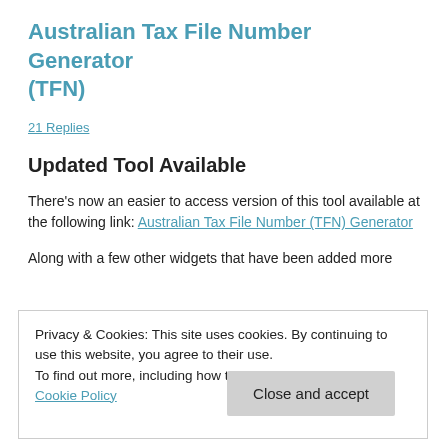Australian Tax File Number Generator (TFN)
21 Replies
Updated Tool Available
There's now an easier to access version of this tool available at the following link: Australian Tax File Number (TFN) Generator
Along with a few other widgets that have been added more
Privacy & Cookies: This site uses cookies. By continuing to use this website, you agree to their use.
To find out more, including how to control cookies, see here: Cookie Policy
Close and accept